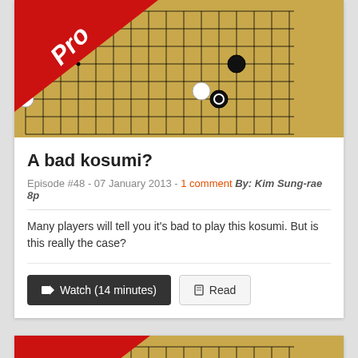[Figure (illustration): Go board with black and white stones, 'Pro' banner in top-left corner. A Go game position showing stones in the upper portion of the board.]
A bad kosumi?
Episode #48 - 07 January 2013 - 1 comment By: Kim Sung-rae 8p
Many players will tell you it's bad to play this kosumi. But is this really the case?
Watch (14 minutes)   Read
[Figure (illustration): Second Go board with black and white stones, 'Pro' banner in top-left corner. Different Go game position.]